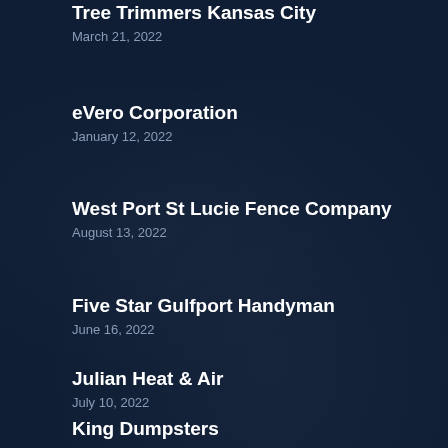Tree Trimmers Kansas City
March 21, 2022
eVero Corporation
January 12, 2022
West Port St Lucie Fence Company
August 13, 2022
Five Star Gulfport Handyman
June 16, 2022
Julian Heat & Air
July 10, 2022
King Dumpsters